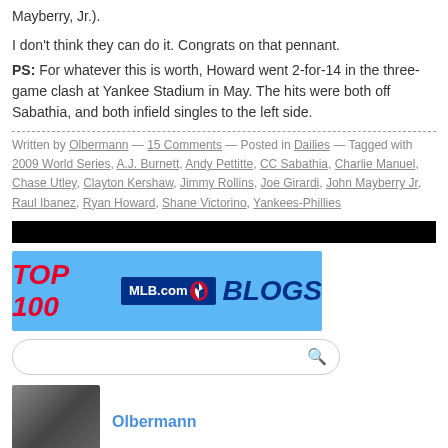Mayberry, Jr.).
I don't think they can do it. Congrats on that pennant.
PS: For whatever this is worth, Howard went 2-for-14 in the three-game clash at Yankee Stadium in May. The hits were both off Sabathia, and both infield singles to the left side.
Written by Olbermann — 15 Comments — Posted in Dailies — Tagged with 2009 World Series, A.J. Burnett, Andy Pettitte, CC Sabathia, Charlie Manuel, Chase Utley, Clayton Kershaw, Jimmy Rollins, Joe Girardi, John Mayberry Jr, Raul Ibanez, Ryan Howard, Shane Victorino, Yankees-Phillies
[Figure (other): Black horizontal bar]
[Figure (other): TOP 100 MLB.com BLOGS banner with blue background, red TOP 100 text, dark blue MLB.com logo with baseball player silhouette, and blue BLOGS text]
[Figure (other): Search box with rounded border and magnifying glass icon]
[Figure (photo): Author photo thumbnail of Olbermann]
Olbermann